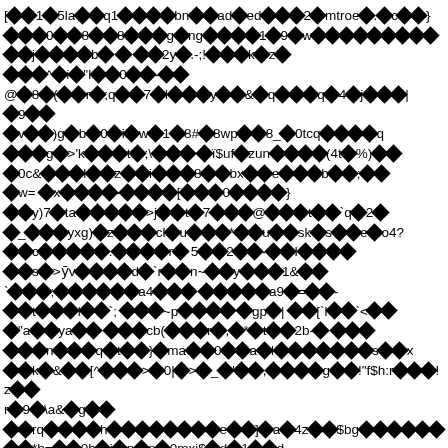Corrupted/garbled text content with replacement characters (diamond question marks) interspersed with readable ASCII characters including letters, numbers, and symbols such as: 5la, q1, bn, ad, ed, 2, mtroe, c, 0, 8, 8, g, ng, 1, 9, w, j, b, 2y, .-;!, k, z, ^, i, "l, 0, -, @, 8, (, r, ;q, 7, l, y, &, q, q, 4, j, |, 9, v, )g, b, 0, i, w, 1, 8#, 8w, 8_, 0tcq, q, g, >'k, t, ;\, ï$uf, zun, (4t, %), 0c&, l, z, i, 8, bx, e, b, ;, w=, x, -, [, 0, }, y)7, ta, >j, t, 7, @, t, `q, 2, _, yxg), z, cl, u, *, u, sk, s, e, o4?, c, ., r, 5, 2, -, I, s, >ȳv, d, `r, n~, y, 1&, `, ;, a4, , a9, =, -, t, l, l, `, ;, ~p, gp|, [`l, `<, "a, ya, cb(, r, ,, *, t, 2b-, , n, q, t, }, ma, 0, a, l, s, x, k, &, [^, >, 0|, >_, ', ,, g, !"f$h:r, !z, r, 9, \a&, g, rq, h, e, ], a, 4z, $bg, *b=, 0h, i, p, p, 0mxj$, d, 1, d, v, i, k, y, de, "e, i2, e, b, g, t, ?